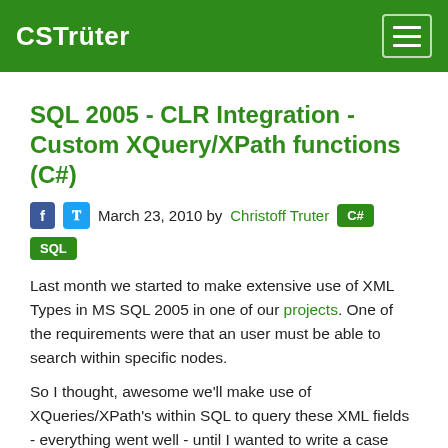CSTrüter
SQL 2005 - CLR Integration - Custom XQuery/XPath functions (C#)
March 23, 2010 by Christoff Truter  C#  SQL
Last month we started to make extensive use of XML Types in MS SQL 2005 in one of our projects. One of the requirements were that an user must be able to search within specific nodes.
So I thought, awesome we'll make use of XQueries/XPath's within SQL to query these XML fields - everything went well - until I wanted to write a case insensitive (upper/lower case functions) search query and found that SQL doesn't fully support XQuery/XPath
Infact, Microsoft only recently added the functions I need to SQL 2008.
a Quick search on google revealed that a lot of people were suggesting that one should use the translate function (as